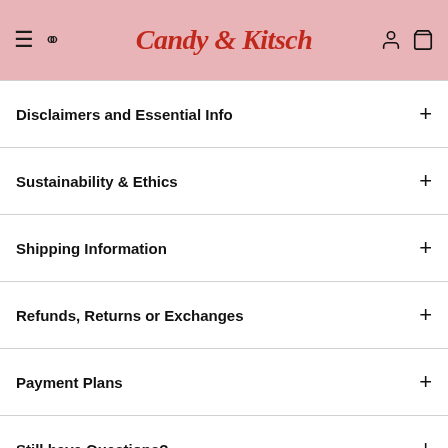Candy & Kitsch
Disclaimers and Essential Info
Sustainability & Ethics
Shipping Information
Refunds, Returns or Exchanges
Payment Plans
Still have Questions?